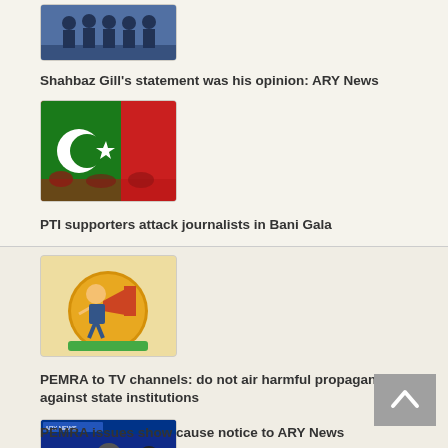[Figure (photo): Police officers in uniform standing together]
Shahbaz Gill's statement was his opinion: ARY News
[Figure (photo): PTI green and red flag with crescent and star]
PTI supporters attack journalists in Bani Gala
[Figure (illustration): Cartoon character with megaphone on golden circular background]
PEMRA to TV channels: do not air harmful propaganda against state institutions
[Figure (screenshot): ARY News TV broadcast screenshot with news anchors]
PEMRA issues show cause notice to ARY News